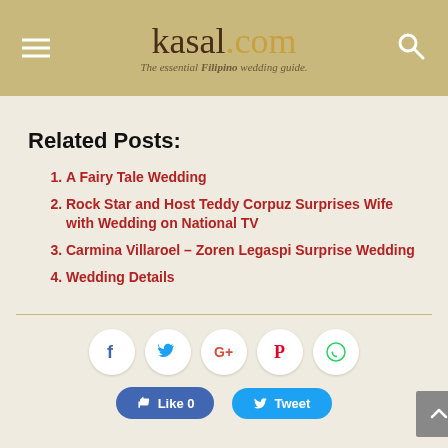kasal.com — The essential Filipino wedding guide
Related Posts:
A Fairy Tale Wedding
Rock Star and Host Teddy Corpuz Surprises Wife with Wedding on National TV
Carmina Villaroel – Zoren Legaspi Surprise Wedding
Wedding Details